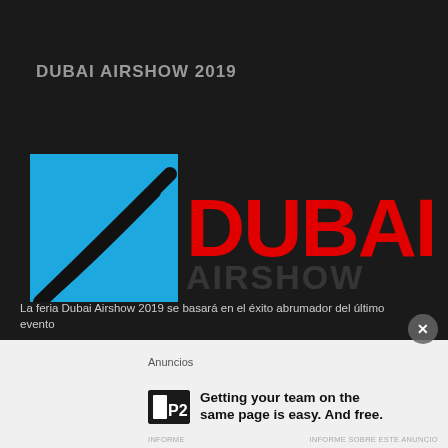DUBAI AIRSHOW 2019
[Figure (logo): Dubai Airshow logo: blue square with swooping black lines on the left, and large bold red text 'DUBAI' on the right, with 'AIRSHOW' in dark watermark text below]
La feria Dubai Airshow 2019 se basará en el éxito abrumador del último evento
Anuncios
Getting your team on the same page is easy. And free.
INFORME SOBRE ESTE ANUNCIO